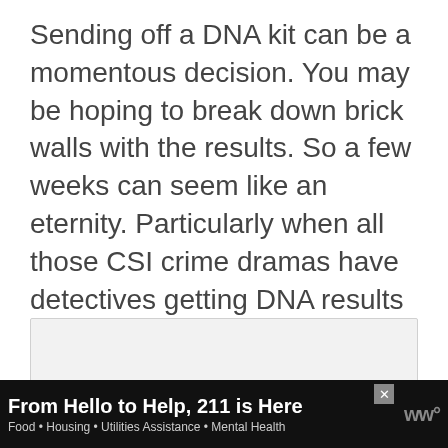Sending off a DNA kit can be a momentous decision. You may be hoping to break down brick walls with the results. So a few weeks can seem like an eternity. Particularly when all those CSI crime dramas have detectives getting DNA results the same day.
[Figure (other): Light gray advertisement placeholder box]
[Figure (other): Black advertisement banner reading 'From Hello to Help, 211 is Here' with subtitle 'Food • Housing • Utilities Assistance • Mental Health' and a close button and logo on the right]